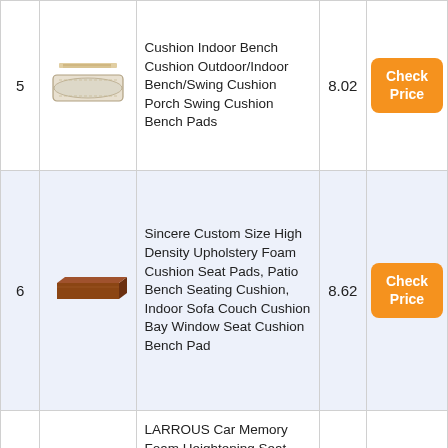| # | Image | Product Name | Score | Action |
| --- | --- | --- | --- | --- |
| 5 | [cushion image] | Cushion Indoor Bench Cushion Outdoor/Indoor Bench/Swing Cushion Porch Swing Cushion Bench Pads | 8.02 | Check Price |
| 6 | [foam cushion image] | Sincere Custom Size High Density Upholstery Foam Cushion Seat Pads, Patio Bench Seating Cushion, Indoor Sofa Couch Cushion Bay Window Seat Cushion Bench Pad | 8.62 | Check Price |
| 7 |  | LARROUS Car Memory Foam Heightening Seat... |  |  |